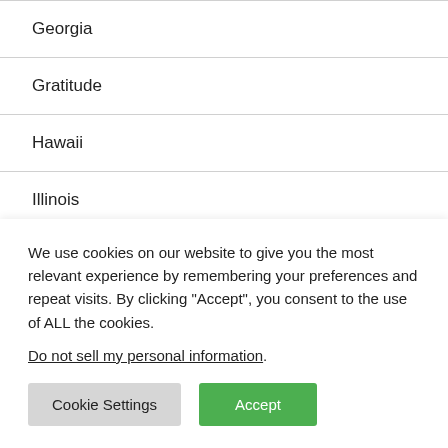Georgia
Gratitude
Hawaii
Illinois
Indiana
Inspire
We use cookies on our website to give you the most relevant experience by remembering your preferences and repeat visits. By clicking “Accept”, you consent to the use of ALL the cookies.
Do not sell my personal information.